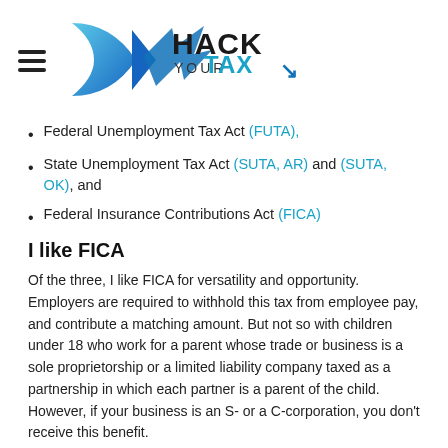[Figure (logo): Hack Your Tax logo with blue geometric arrow/diamond shape and text 'HACK YOUR TAX' with hamburger menu icon]
Federal Unemployment Tax Act (FUTA),
State Unemployment Tax Act (SUTA, AR) and (SUTA, OK), and
Federal Insurance Contributions Act (FICA)
I like FICA
Of the three, I like FICA for versatility and opportunity. Employers are required to withhold this tax from employee pay, and contribute a matching amount. But not so with children under 18 who work for a parent whose trade or business is a sole proprietorship or a limited liability company taxed as a partnership in which each partner is a parent of the child. However, if your business is an S- or a C-corporation, you don't receive this benefit.